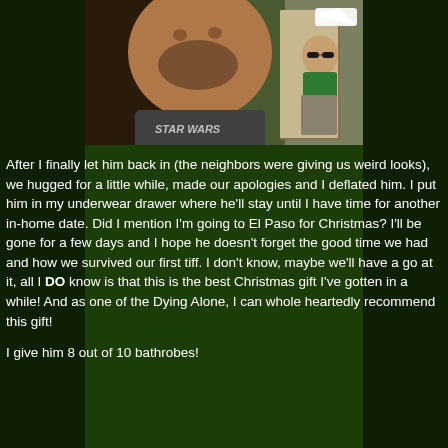[Figure (photo): Photo of a man in a Star Wars t-shirt in the foreground, with another person in a green tank top visible in the background near a doorway. There is a speech bubble shape visible in the upper right area of the photo.]
After I finally let him back in (the neighbors were giving us weird looks), we hugged for a little while, made our apologies and I deflated him.  I put him in my underwear drawer where he'll stay until I have time for another in-home date.  Did I mention I'm going to El Paso for Christmas?  I'll be gone for a  few days and I hope he doesn't forget the good time we had and how we survived our first tiff.  I don't know, maybe we'll have a go at it, all I DO know is that this is the best Christmas gift I've gotten in a while!  And as one of the Dying Alone, I can whole heartedly recommend this gift!
I give him 8 out of 10 bathrobes!